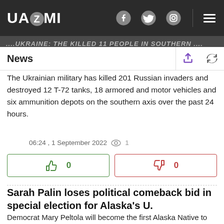UAZMI
...UKRAINE: THE KILLED 11 PEOPLE IN SOUTHERN...
News
The Ukrainian military has killed 201 Russian invaders and destroyed 12 T-72 tanks, 18 armored and motor vehicles and six ammunition depots on the southern axis over the past 24 hours.
06:24 , 1 September 2022  👁 1
Sarah Palin loses political comeback bid in special election for Alaska's U.
Democrat Mary Peltola will become the first Alaska Native to serve in Congress and the first woman to hold the seat, serving the remainder of late Republican Rep. Don Young's term.